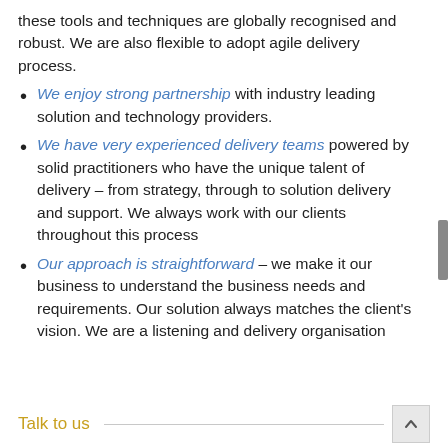these tools and techniques are globally recognised and robust. We are also flexible to adopt agile delivery process.
We enjoy strong partnership with industry leading solution and technology providers.
We have very experienced delivery teams powered by solid practitioners who have the unique talent of delivery – from strategy, through to solution delivery and support. We always work with our clients throughout this process
Our approach is straightforward – we make it our business to understand the business needs and requirements. Our solution always matches the client's vision. We are a listening and delivery organisation
Talk to us